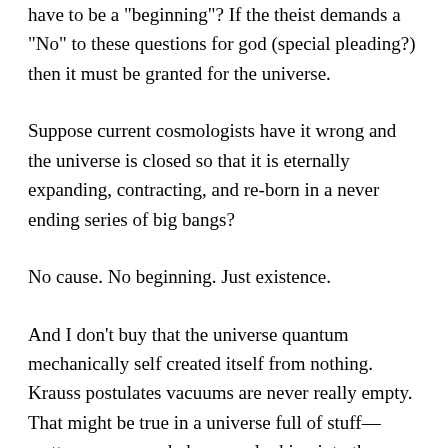have to be a 'beginning'? If the theist demands a 'No' to these questions for god (special pleading?) then it must be granted for the universe.
Suppose current cosmologists have it wrong and the universe is closed so that it is eternally expanding, contracting, and re-born in a never ending series of big bangs?
No cause. No beginning. Just existence.
And I don't buy that the universe quantum mechanically self created itself from nothing. Krauss postulates vacuums are never really empty. That might be true in a universe full of stuff— matter, energy, and observers looking into the vacuum! We also have laws of nature that govern quantum physics. In a pre-existent state where space, time, stuff don't exist, and it's hard to contemplate this even as a thought experiment, what laws would govern self emergence?